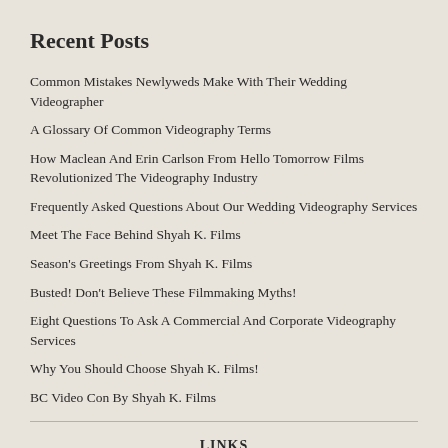Recent Posts
Common Mistakes Newlyweds Make With Their Wedding Videographer
A Glossary Of Common Videography Terms
How Maclean And Erin Carlson From Hello Tomorrow Films Revolutionized The Videography Industry
Frequently Asked Questions About Our Wedding Videography Services
Meet The Face Behind Shyah K. Films
Season's Greetings From Shyah K. Films
Busted! Don't Believe These Filmmaking Myths!
Eight Questions To Ask A Commercial And Corporate Videography Services
Why You Should Choose Shyah K. Films!
BC Video Con By Shyah K. Films
LINKS